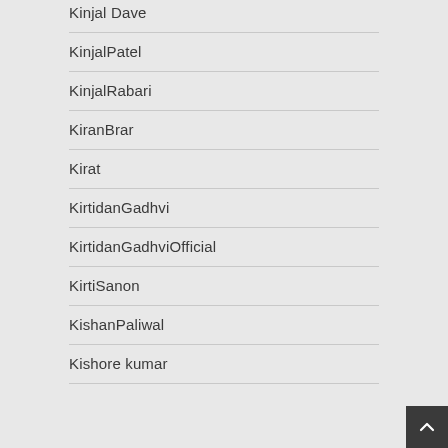Kinjal Dave
KinjalPatel
KinjalRabari
KiranBrar
Kirat
KirtidanGadhvi
KirtidanGadhviOfficial
KirtiSanon
KishanPaliwal
Kishore kumar